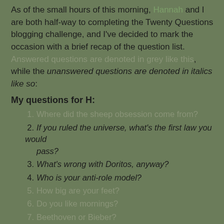As of the small hours of this morning, Hannah and I are both half-way to completing the Twenty Questions blogging challenge, and I've decided to mark the occasion with a brief recap of the question list. Answered questions are denoted in grey like this, while the unanswered questions are denoted in italics like so:
My questions for H:
1. Where did the sheep obsession come from?
2. If you ruled the universe, what's the first law you would pass?
3. What's wrong with Doritos, anyway?
4. Who is your anti-role model?
5. How big are your feet?
6. Do you like mornings?
7. Beethoven or Bieber?
8. Ink or acrylics?
9. What's the most overrated book out there?